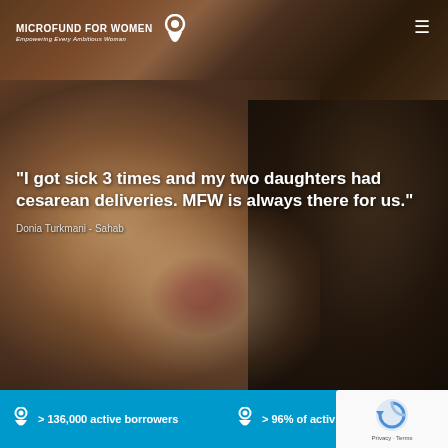[Figure (photo): Background photo of two women, one in a floral headscarf in foreground, another in background in a dark room]
MICROFUND FOR WOMEN — Empowering Every Ambitious Woman
"I got sick 3 times and my two daughters had cesarean deliveries. MFW is always there for us."
Donia Turkmani - Sahab
> 136,000 active borrowers
> 96% of activ